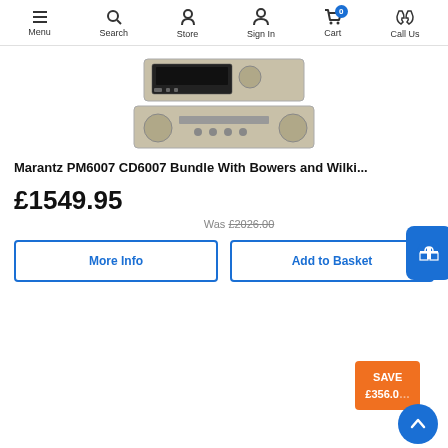Menu | Search | Store | Sign In | Cart (0) | Call Us
[Figure (photo): Marantz PM6007 CD6007 audio equipment bundle product photo showing silver CD player and amplifier stacked]
Marantz PM6007 CD6007 Bundle With Bowers and Wilki...
£1549.95
Was £2026.00
More Info
Add to Basket
SAVE £356.0...